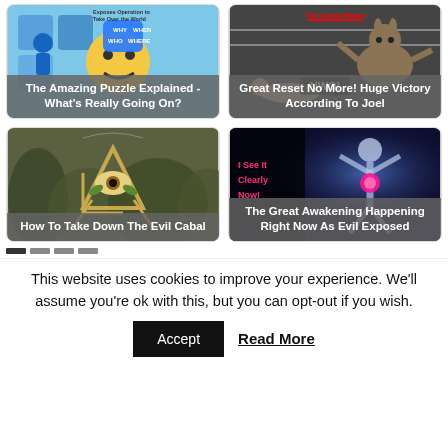[Figure (screenshot): Card image: colorful puzzle pieces with emoji character - The Amazing Puzzle Explained]
[Figure (screenshot): Card image: kangaroo boxing match with 'The Great Reset' text overlay]
[Figure (screenshot): Card image: Masonic all-seeing eye symbol - How To Take Down The Evil Cabal]
[Figure (screenshot): Card image: spiritual figure with glowing heart, 'I See It Clearly Now!' - The Great Awakening]
This website uses cookies to improve your experience. We'll assume you're ok with this, but you can opt-out if you wish.
Accept
Read More